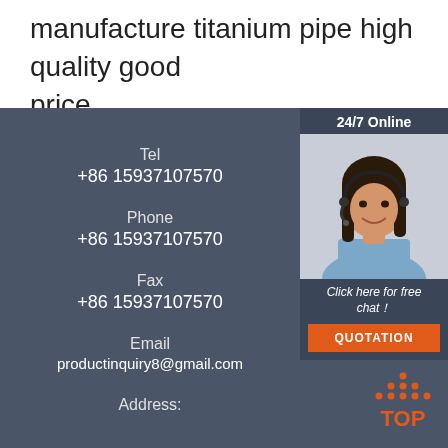manufacture titanium pipe high quality good price
Tel
+86 15937107570
Phone
+86 15937107570
Fax
+86 15937107570
Email
productinquiry8@gmail.com
Address:
[Figure (photo): 24/7 Online chat widget with a woman wearing a headset, 'Click here for free chat!' text, and an orange QUOTATION button]
[Figure (logo): Orange TOP logo with triangular dots pattern above the letters TOP]